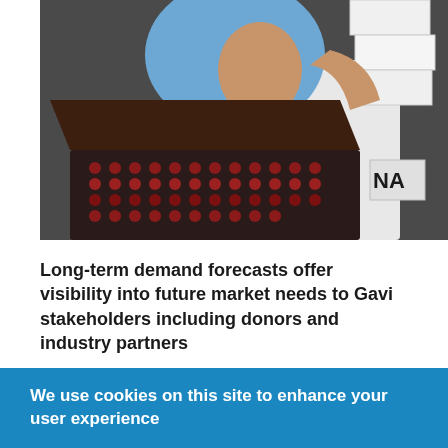[Figure (photo): A person wearing a blue hijab and white lab coat examining a tray of red capsule pills, with stacked white boxes in the background and a label partially visible reading 'NA']
Long-term demand forecasts offer visibility into future market needs to Gavi stakeholders including donors and industry partners
We use cookies on this site to enhance your user experience